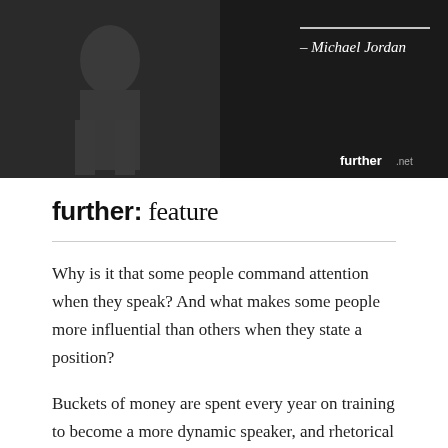[Figure (photo): Black and white photo of a basketball player (Michael Jordan) in action, with a dark background. A quote attribution reads '~ Michael Jordan' in italic white text, with a horizontal line above it. The 'further.net' logo appears in the bottom right corner.]
further: feature
Why is it that some people command attention when they speak? And what makes some people more influential than others when they state a position?
Buckets of money are spent every year on training to become a more dynamic speaker, and rhetorical devices of all kinds are deployed to make a particular case more compelling to the listener. But it may be something much simpler at work.